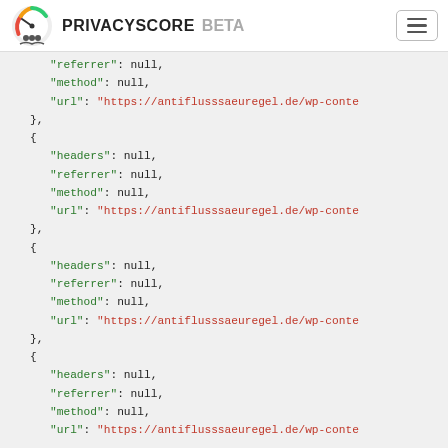PRIVACYSCORE BETA
JSON code block showing repeated objects with headers: null, referrer: null, method: null, url: "https://antiflusssaeuregel.de/wp-conte..."